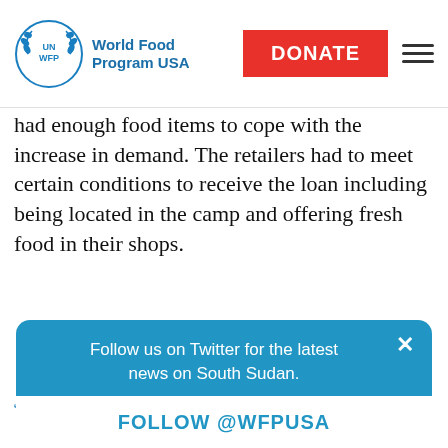UN WFP World Food Program USA | DONATE | menu
had enough food items to cope with the increase in demand. The retailers had to meet certain conditions to receive the loan including being located in the camp and offering fresh food in their shops.
Story by Miguel Tomas
CONTACT US
Follow us on Twitter for the latest news on South Sudan.
FOLLOW @WFPUSA